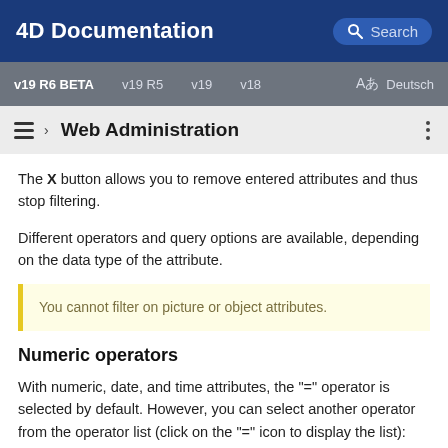4D Documentation  Search
v19 R6 BETA  v19 R5  v19  v18  Aあ Deutsch
› Web Administration
The X button allows you to remove entered attributes and thus stop filtering.
Different operators and query options are available, depending on the data type of the attribute.
You cannot filter on picture or object attributes.
Numeric operators
With numeric, date, and time attributes, the "=" operator is selected by default. However, you can select another operator from the operator list (click on the "=" icon to display the list):